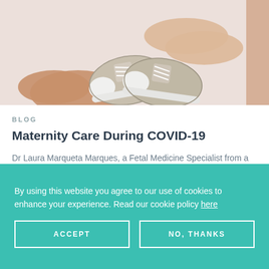[Figure (photo): Two pairs of hands holding small baby sneakers/shoes against a light background]
BLOG
Maternity Care During COVID-19
Dr Laura Marqueta Marques, a Fetal Medicine Specialist from a prominent ...
Jun 10, 2020 • 7 min read
By using this website you agree to our use of cookies to enhance your experience. Read our cookie policy here
ACCEPT
NO, THANKS